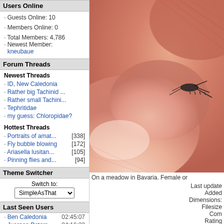Users Online
· Guests Online: 10
· Members Online: 0
· Total Members: 4,786
· Newest Member: kneubaue
Forum Threads
Newest Threads
· ID, New Caledonia
· Rather big Tachinid ...
· Rather small Tachini...
· Tephritidae
· my guess: Chloropidae?
Hottest Threads
· Portraits of amat...  [338]
· Fly bubble blowing  [172]
· Ariasella lusitan...  [105]
· Pinning flies and...  [94]
Theme Switcher
Switch to: SimpleAsThat
Last Seen Users
· Ben Caledonia  02:45:07
· Juergen Peters  04:16:22
· John Carr  06:20:01
· Arthur van O...  06:23:34
· Sundew  06:24:27
· weia  06:43:34
· Grigory Popov  07:31:35
· evdb  07:45:10
· Morten A Mjelde  08:21:39
· Garnifou  08:24:10
[Figure (photo): Close-up macro photo of a fly, pinkish/flesh-toned background with insect detail visible]
On a meadow in Bavaria. Female or
Last update
Added
Dimensions:
Filesize
Com
Rating
Number o
WARNING
Report any erro
https://diptera.info/forum/
NOT as comm